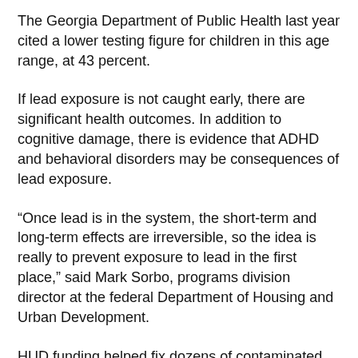The Georgia Department of Public Health last year cited a lower testing figure for children in this age range, at 43 percent.
If lead exposure is not caught early, there are significant health outcomes. In addition to cognitive damage, there is evidence that ADHD and behavioral disorders may be consequences of lead exposure.
“Once lead is in the system, the short-term and long-term effects are irreversible, so the idea is really to prevent exposure to lead in the first place,” said Mark Sorbo, programs division director at the federal Department of Housing and Urban Development.
HUD funding helped fix dozens of contaminated Chatham County homes in recent years. Housing officials made 120 homes “lead-safe,” moving the residents to other living quarters if necessary while the work was